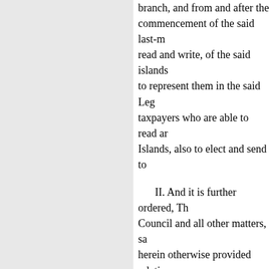branch, and from and after the commencement of the said last-mentioned Act, read and write, of the said islands, to represent them in the said Legislature; and taxpayers who are able to read and write of the said Islands, also to elect and send to
II. And it is further ordered, That the Council and all other matters, save as herein otherwise provided relating thereto, until otherwise regulated and approved by Her said Majesty, her heirs and successors, Legislature of the said islands, be
the said hereinbefore mentioned Act of the seventh year of the reign of His said consolidating the several Acts for regulating Assembly of these Islands, and of dividing several Islands and Districts with reference and for other purposes therein mentioned, regulating elections, in force in the last-mentioned Act of the eleventh year, which are not inconsistent with the said
III. And it is further ordered, T